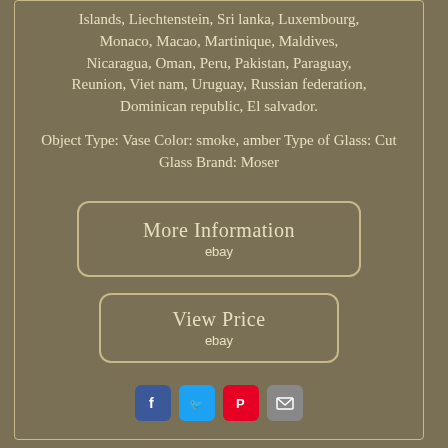Islands, Liechtenstein, Sri lanka, Luxembourg, Monaco, Macao, Martinique, Maldives, Nicaragua, Oman, Peru, Pakistan, Paraguay, Reunion, Viet nam, Uruguay, Russian federation, Dominican republic, El salvador.
Object Type: Vase Color: smoke, amber Type of Glass: Cut Glass Brand: Moser
[Figure (other): Button graphic with text 'More Information' and ebay logo]
[Figure (other): Button graphic with text 'View Price' and ebay logo]
[Figure (other): Social sharing icons: Facebook, Twitter, Pinterest, Email]